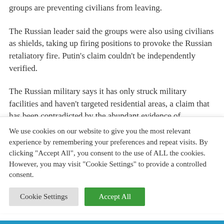groups are preventing civilians from leaving.
The Russian leader said the groups were also using civilians as shields, taking up firing positions to provoke the Russian retaliatory fire. Putin's claim couldn't be independently verified.
The Russian military says it has only struck military facilities and haven't targeted residential areas, a claim that has been contradicted by the abundant evidence of
We use cookies on our website to give you the most relevant experience by remembering your preferences and repeat visits. By clicking "Accept All", you consent to the use of ALL the cookies. However, you may visit "Cookie Settings" to provide a controlled consent.